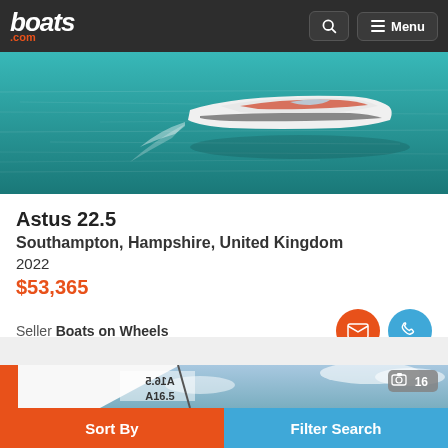boats.com
[Figure (photo): White speedboat on teal/turquoise water, viewed from behind-right, with a light wake behind it. Sky and water visible.]
Astus 22.5
Southampton, Hampshire, United Kingdom
2022
$53,365
Seller Boats on Wheels
[Figure (photo): Close-up of a sail with orange edge and sail number A16.5 visible (mirrored text also visible). Blue sky with clouds in background.]
Sort By
Filter Search